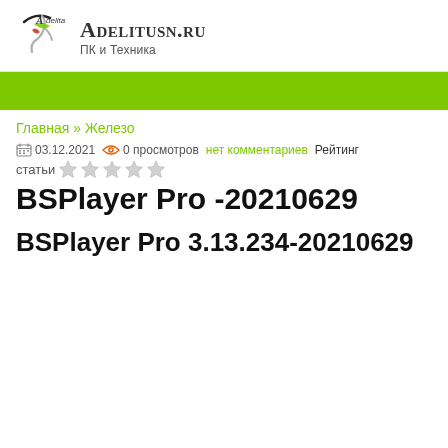ADELITUSN.RU — ПК и Техника
Главная » Железо
03.12.2021  0 просмотров  нет комментариев  Рейтинг статьи ★★★★★
BSPlayer Pro -20210629
BSPlayer Pro 3.13.234-20210629